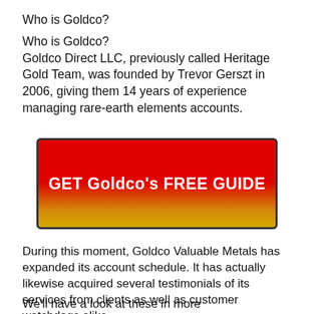Who is Goldco?
Goldco Direct LLC, previously called Heritage Gold Team, was founded by Trevor Gerszt in 2006, giving them 14 years of experience managing rare-earth elements accounts.
[Figure (other): Red to gold gradient button with text GET Goldco's FREE GUIDE]
During this moment, Goldco Valuable Metals has expanded its account schedule. It has actually likewise acquired several testimonials of its services from clients as well as customer watchdogs alike.
We'll have a look at these in more